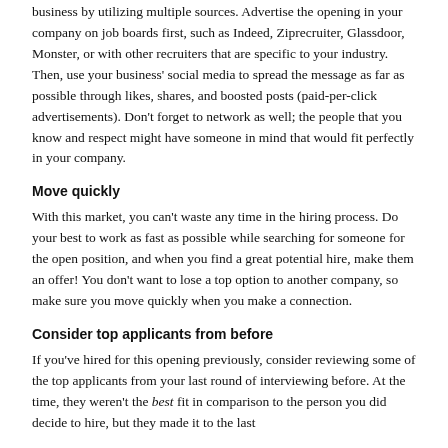business by utilizing multiple sources. Advertise the opening in your company on job boards first, such as Indeed, Ziprecruiter, Glassdoor, Monster, or with other recruiters that are specific to your industry. Then, use your business' social media to spread the message as far as possible through likes, shares, and boosted posts (paid-per-click advertisements). Don't forget to network as well; the people that you know and respect might have someone in mind that would fit perfectly in your company.
Move quickly
With this market, you can't waste any time in the hiring process. Do your best to work as fast as possible while searching for someone for the open position, and when you find a great potential hire, make them an offer! You don't want to lose a top option to another company, so make sure you move quickly when you make a connection.
Consider top applicants from before
If you've hired for this opening previously, consider reviewing some of the top applicants from your last round of interviewing before. At the time, they weren't the best fit in comparison to the person you did decide to hire, but they made it to the last